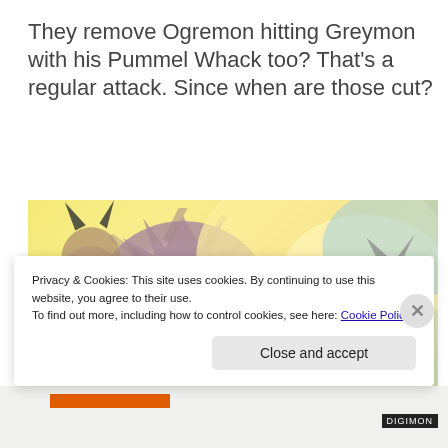They remove Ogremon hitting Greymon with his Pummel Whack too? That’s a regular attack. Since when are those cut?
[Figure (illustration): Anime screenshot from Digimon showing characters including Greymon and Ogremon with a large purple impact/explosion effect in a colorful outdoor scene.]
Privacy & Cookies: This site uses cookies. By continuing to use this website, you agree to their use.
To find out more, including how to control cookies, see here: Cookie Policy
Close and accept